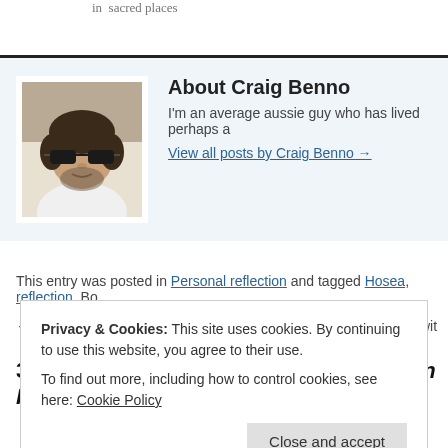in  sacred places
About Craig Benno
I'm an average aussie guy who has lived perhaps a
View all posts by Craig Benno →
This entry was posted in Personal reflection and tagged Hosea, reflection. Bo
← Some random thoughts and questions about prayer   Struggling wit
3 Responses to A personal reflection on Ho
Privacy & Cookies: This site uses cookies. By continuing to use this website, you agree to their use.
To find out more, including how to control cookies, see here: Cookie Policy
Close and accept